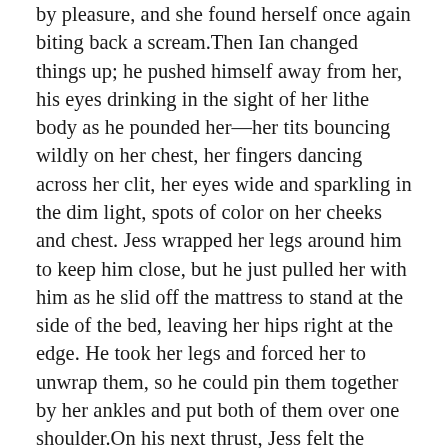by pleasure, and she found herself once again biting back a scream.Then Ian changed things up; he pushed himself away from her, his eyes drinking in the sight of her lithe body as he pounded her—her tits bouncing wildly on her chest, her fingers dancing across her clit, her eyes wide and sparkling in the dim light, spots of color on her cheeks and chest. Jess wrapped her legs around him to keep him close, but he just pulled her with him as he slid off the mattress to stand at the side of the bed, leaving her hips right at the edge. He took her legs and forced her to unwrap them, so he could pin them together by her ankles and put both of them over one shoulder.On his next thrust, Jess felt the difference. With her legs together like this, she was much tighter around him; it felt to her like she could feel his pulse through the veins on his monstrous weapon. Ian's weight forced her to bring her knees closed to her chest, which made her lift her hips off the bed in turn. With every thrust, Ian drove her into the mattress; the springs